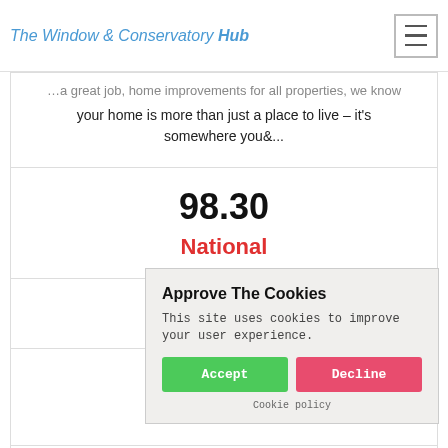The Window & Conservatory Hub
...a great job, home improvements for all properties. We know your home is more than just a place to live – it's somewhere you&...
98.30
National
[Figure (other): Five empty star rating icons in light grey]
Get a Q...
[Figure (screenshot): Cookie consent popup: 'Approve The Cookies' with Accept and Decline buttons and Cookie policy link]
[Figure (other): Checkbox icon with checkmark, partially visible at bottom]